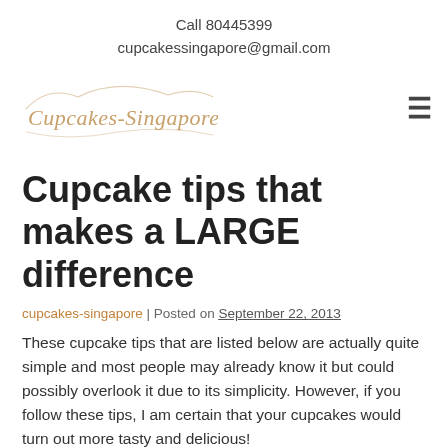Call 80445399
cupcakessingapore@gmail.com
[Figure (logo): Cupcakes-Singapore.com cursive logo in brown/gold color]
Cupcake tips that makes a LARGE difference
cupcakes-singapore | Posted on September 22, 2013
These cupcake tips that are listed below are actually quite simple and most people may already know it but could possibly overlook it due to its simplicity. However, if you follow these tips, I am certain that your cupcakes would turn out more tasty and delicious!